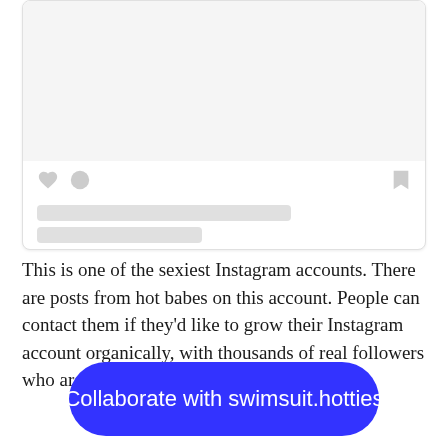[Figure (screenshot): Instagram post card placeholder with gray image area, heart and comment icons, bookmark icon, two gray placeholder text lines, and caption text reading 'A post shared by Bikini Body Hot Fit Daily Dose (@swim...']
This is one of the sexiest Instagram accounts. There are posts from hot babes on this account. People can contact them if they’d like to grow their Instagram account organically, with thousands of real followers who are interested in their content.
Collaborate with swimsuit.hotties